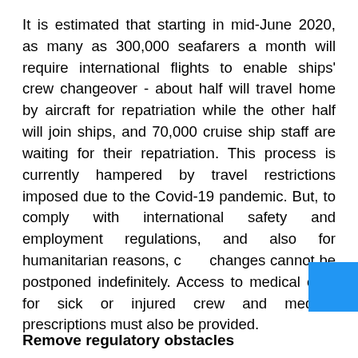It is estimated that starting in mid-June 2020, as many as 300,000 seafarers a month will require international flights to enable ships' crew changeover - about half will travel home by aircraft for repatriation while the other half will join ships, and 70,000 cruise ship staff are waiting for their repatriation. This process is currently hampered by travel restrictions imposed due to the Covid-19 pandemic. But, to comply with international safety and employment regulations, and also for humanitarian reasons, crew changes cannot be postponed indefinitely. Access to medical care for sick or injured crew and medical prescriptions must also be provided.
Remove regulatory obstacles